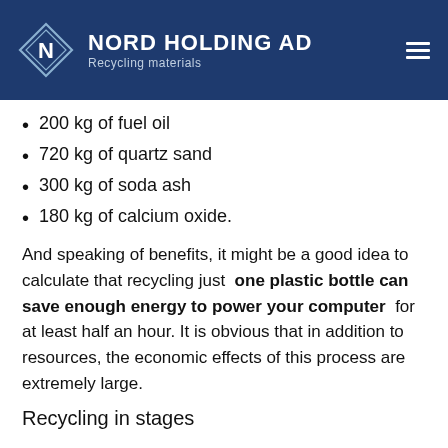NORD HOLDING AD – Recycling materials
200 kg of fuel oil
720 kg of quartz sand
300 kg of soda ash
180 kg of calcium oxide.
And speaking of benefits, it might be a good idea to calculate that recycling just one plastic bottle can save enough energy to power your computer for at least half an hour. It is obvious that in addition to resources, the economic effects of this process are extremely large.
Recycling in stages